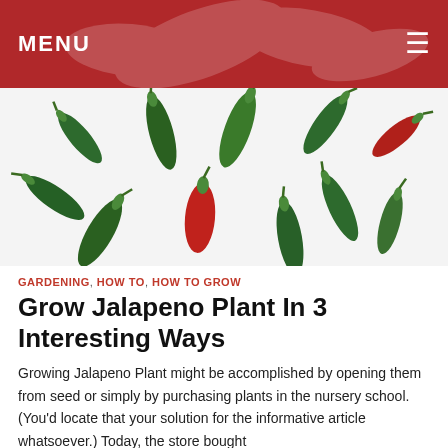MENU
[Figure (photo): Multiple jalapeno peppers scattered on a white background, mostly green with two red ones]
GARDENING, HOW TO, HOW TO GROW
Grow Jalapeno Plant In 3 Interesting Ways
Growing Jalapeno Plant might be accomplished by opening them from seed or simply by purchasing plants in the nursery school.(You'd locate that your solution for the informative article whatsoever.) Today, the store bought